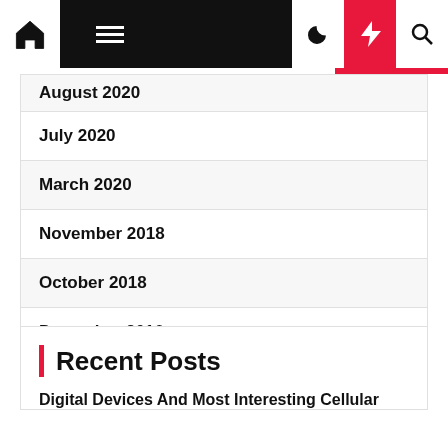Navigation bar with home, menu, moon, bolt, search icons
August 2020
July 2020
March 2020
November 2018
October 2018
December 2016
Recent Posts
Digital Devices And Most Interesting Cellular